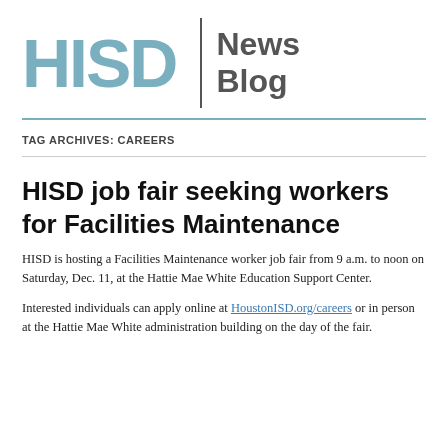[Figure (logo): HISD News Blog logo with large teal HISD text, vertical divider, and dark gray News Blog text]
TAG ARCHIVES: CAREERS
HISD job fair seeking workers for Facilities Maintenance
HISD is hosting a Facilities Maintenance worker job fair from 9 a.m. to noon on Saturday, Dec. 11, at the Hattie Mae White Education Support Center.
Interested individuals can apply online at HoustonISD.org/careers or in person at the Hattie Mae White administration building on the day of the fair.